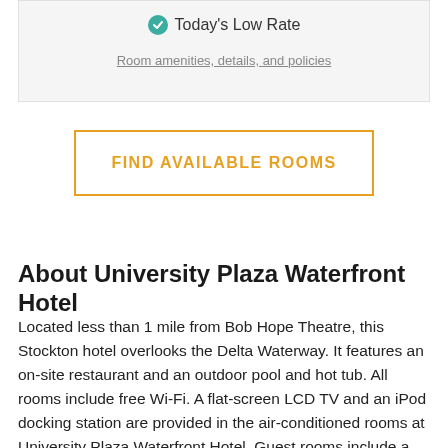Today's Low Rate
Room amenities, details, and policies
FIND AVAILABLE ROOMS
About University Plaza Waterfront Hotel
Located less than 1 mile from Bob Hope Theatre, this Stockton hotel overlooks the Delta Waterway. It features an on-site restaurant and an outdoor pool and hot tub. All rooms include free Wi-Fi. A flat-screen LCD TV and an iPod docking station are provided in the air-conditioned rooms at University Plaza Waterfront Hotel. Guest rooms include a work desk, a coffee maker, a sitting area and ironing facilities. Spacious suites offer panoramic